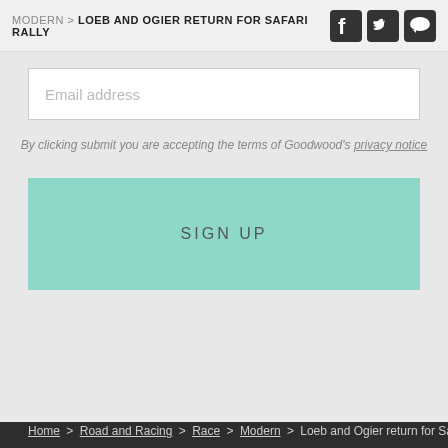MODERN > LOEB AND OGIER RETURN FOR SAFARI RALLY
Email address
By clicking submit you are accepting the terms of Goodwood's privacy notice
SIGN UP
Home > Road and Racing > Race > Modern > Loeb and Ogier return for Safari Rall
The Goodwood Estate
Press and Media
Goodwood for Leisure
Careers at Goodwood